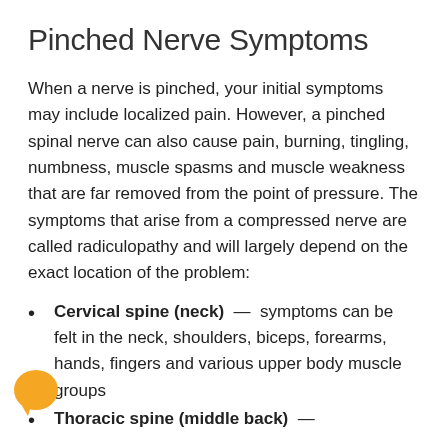Pinched Nerve Symptoms
When a nerve is pinched, your initial symptoms may include localized pain. However, a pinched spinal nerve can also cause pain, burning, tingling, numbness, muscle spasms and muscle weakness that are far removed from the point of pressure. The symptoms that arise from a compressed nerve are called radiculopathy and will largely depend on the exact location of the problem:
Cervical spine (neck) — symptoms can be felt in the neck, shoulders, biceps, forearms, hands, fingers and various upper body muscle groups
Thoracic spine (middle back) —